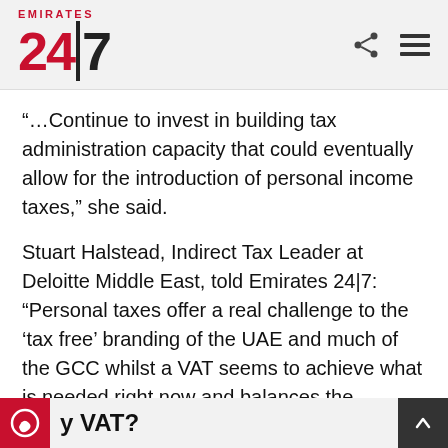Emirates 24|7
“…Continue to invest in building tax administration capacity that could eventually allow for the introduction of personal income taxes,” she said.
Stuart Halstead, Indirect Tax Leader at Deloitte Middle East, told Emirates 24|7: “Personal taxes offer a real challenge to the ‘tax free’ branding of the UAE and much of the GCC whilst a VAT seems to achieve what is needed right now and balances the requirements of the economy, businesses and consumers well.”
y VAT?